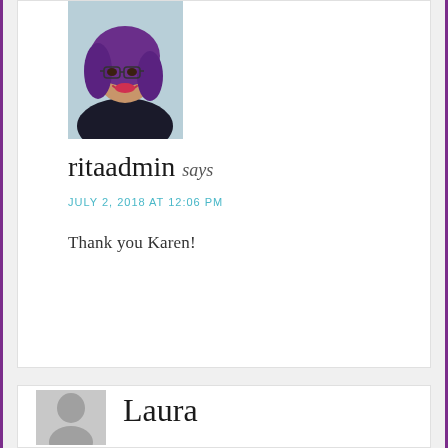[Figure (photo): Profile photo of ritaadmin, a woman with purple hair and glasses, smiling]
ritaadmin says
JULY 2, 2018 AT 12:06 PM
Thank you Karen!
[Figure (photo): Generic gray placeholder avatar silhouette for Laura]
Laura